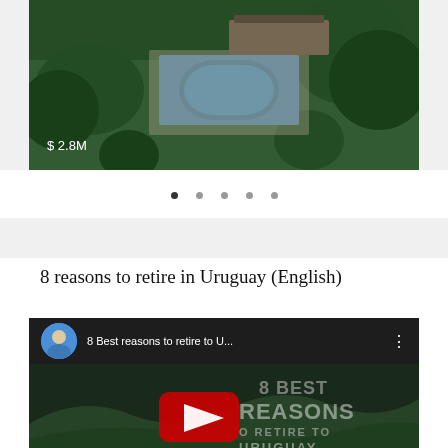[Figure (photo): Aerial view of a property with a swimming pool surrounded by green trees and lawn. Price label '$2.8M' visible in lower left of image. Below the image are five navigation dots (first dot is active/dark).]
8 reasons to retire in Uruguay (English)
[Figure (screenshot): YouTube video thumbnail showing '8 Best reasons to retire to U...' with a circular avatar of a person in a blue shirt, three-dot menu icon, and overlay text reading '8 BEST REASONS O RETIRE TO URUGUAY' with a red YouTube play button over a dark green landscape background.]